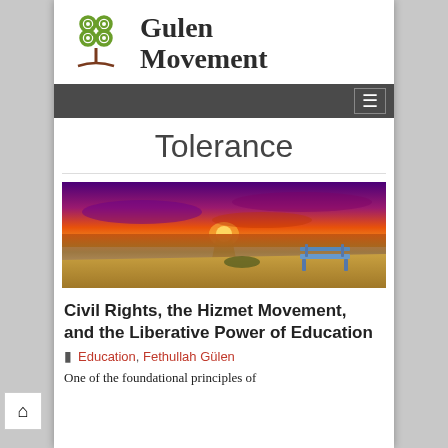[Figure (logo): Gulen Movement logo with green tree/flower symbol and bold text 'Gulen Movement']
Tolerance
[Figure (photo): Landscape photo of a sunset over water with a bench on a sandy shore, dramatic orange and purple sky with light reflection on water]
Civil Rights, the Hizmet Movement, and the Liberative Power of Education
Education, Fethullah Gülen
One of the foundational principles of